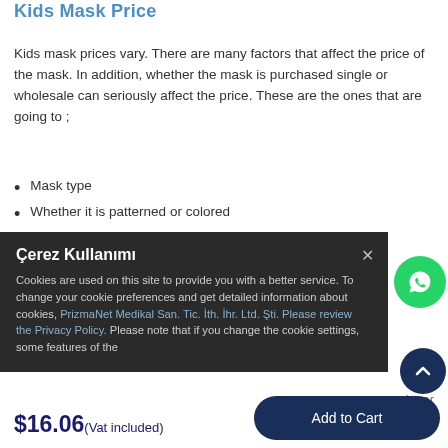Kids Mask Price
Kids mask prices vary. There are many factors that affect the price of the mask. In addition, whether the mask is purchased single or wholesale can seriously affect the price. These are the ones that are going to ;
Mask type
Whether it is patterned or colored
Bulk or normal sale
Quality of material used in mask
With which technique the mask is stitched
Çerez Kullanımı — Cookies are used on this site to provide you with a better service. To change your cookie preferences and get detailed information about cookies, PrizmaNet Medikal San. Tic. İth. İhr. Ltd. Şti. Please review the Privacy Policy. Please note that if you change the cookie settings, some features of the
$16.06 (Vat included)
Add to Cart